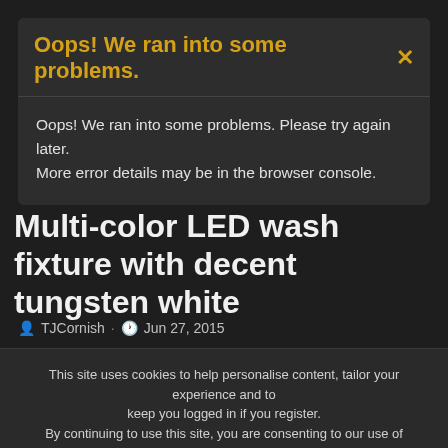Oops! We ran into some problems.
Oops! We ran into some problems. Please try again later. More error details may be in the browser console.
< Lighting and Electrics
Multi-color LED wash fixture with decent tungsten white
TJCornish · Jun 27, 2015
This site uses cookies to help personalise content, tailor your experience and to keep you logged in if you register. By continuing to use this site, you are consenting to our use of cookies.
✓ Accept   Learn more...
Jun 27, 2015   #1
I have had a lot of success with my current RGBA pars for saturated colors, but they're really not good enough for front white. Is there anything out there that: